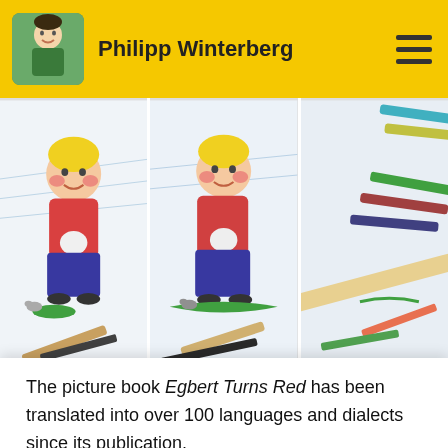Philipp Winterberg
[Figure (photo): Three overlapping photos showing cartoon illustration of a boy character (Egbert) with colored pencils scattered around on white paper background]
The picture book Egbert Turns Red has been translated into over 100 languages and dialects since its publication.
100+ languages and dialects ...
WorldCat Libraries